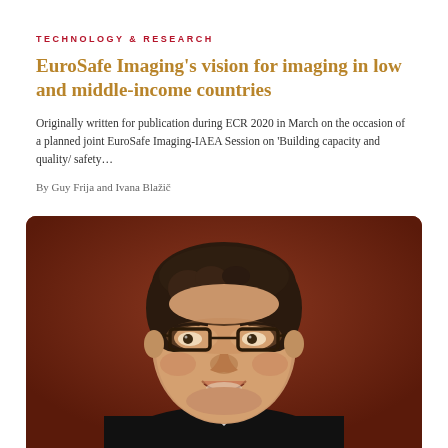TECHNOLOGY & RESEARCH
EuroSafe Imaging's vision for imaging in low and middle-income countries
Originally written for publication during ECR 2020 in March on the occasion of a planned joint EuroSafe Imaging-IAEA Session on ‘Building capacity and quality/ safety…
By Guy Frija and Ivana Blažić
[Figure (photo): Portrait photo of a man with glasses and dark hair, smiling, against a dark red/brown background, wearing a dark suit jacket.]